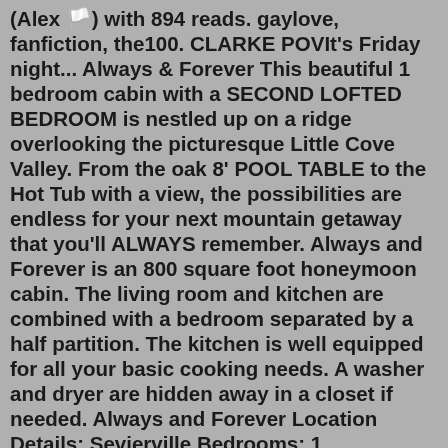(Alex 🏳️) with 894 reads. gaylove, fanfiction, the100. CLARKE POVIt's Friday night... Always & Forever This beautiful 1 bedroom cabin with a SECOND LOFTED BEDROOM is nestled up on a ridge overlooking the picturesque Little Cove Valley. From the oak 8' POOL TABLE to the Hot Tub with a view, the possibilities are endless for your next mountain getaway that you'll ALWAYS remember. Always and Forever is an 800 square foot honeymoon cabin. The living room and kitchen are combined with a bedroom separated by a half partition. The kitchen is well equipped for all your basic cooking needs. A washer and dryer are hidden away in a closet if needed. Always and Forever Location Details: Sevierville Bedrooms: 1 Bathrooms: 1 Sleeps: 2 Private and secluded honeymoon cabin for two featuring king log bed, 2 fireplaces, jacuzzi, walk in spa sauna shower combo for two.Property typeCabin; Max Sleeps4; Min Stay2 Nights; Always and Forever is a gorgeous all wood cabin close to the Parkway in Pigeon Forge. The perfect place to relax and unwind